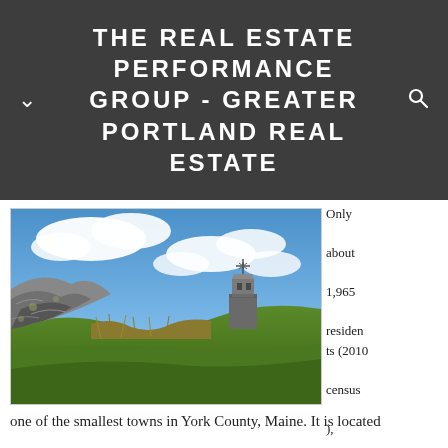THE REAL ESTATE PERFORMANCE GROUP - GREATER PORTLAND REAL ESTATE
[Figure (photo): Landscape photo showing rocky hillside with tall grass and a historic stone tower or monument structure with a weather vane on top, under a blue sky with clouds. Maine countryside scenery.]
Only about 1,965 residents (2010 census), Dayton is one of the smallest towns in York County, Maine. It is located
one of the smallest towns in York County, Maine. It is located